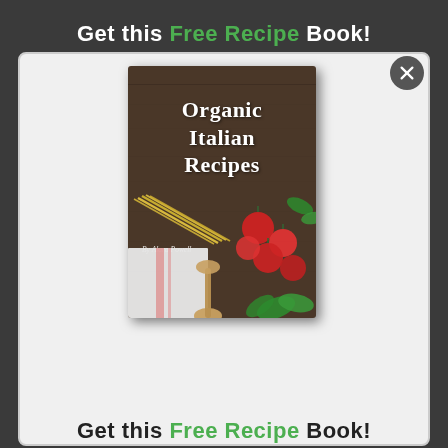Get this Free Recipe Book!
[Figure (illustration): Book cover for 'Organic Italian Recipes' by Alara Powell, showing pasta, tomatoes, basil and a wooden spoon on a dark wooden surface]
Get this Free Recipe Book!